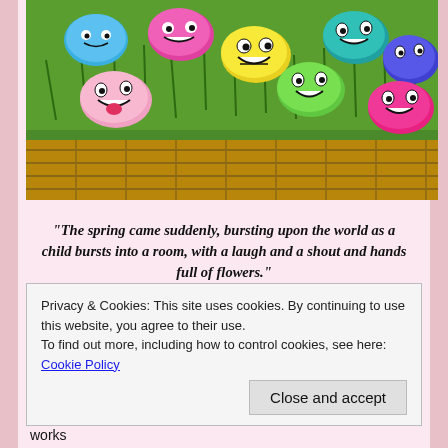[Figure (photo): A wicker basket filled with green grass and colorful Easter eggs with cartoon funny faces drawn on them — blue, yellow, pink, teal, magenta, and other colors]
“The spring came suddenly, bursting upon the world as a child bursts into a room, with a laugh and a shout and hands full of flowers.”
– Henry Wadsworth Longfellow
Spring is finally here!  It definitely did not feel like spring last weekend
Privacy & Cookies: This site uses cookies. By continuing to use this website, you agree to their use.
To find out more, including how to control cookies, see here: Cookie Policy
Close and accept
purchased more at a craft store last week.  A counselor that works